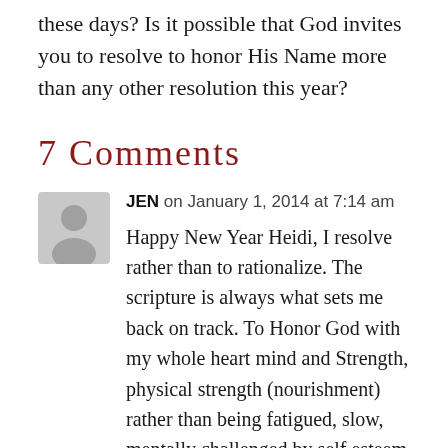these days? Is it possible that God invites you to resolve to honor His Name more than any other resolution this year?
7 Comments
JEN on January 1, 2014 at 7:14 am
Happy New Year Heidi, I resolve rather than to rationalize. The scripture is always what sets me back on track. To Honor God with my whole heart mind and Strength, physical strength (nourishment) rather than being fatigued, slow, mentally challenged by self esteem